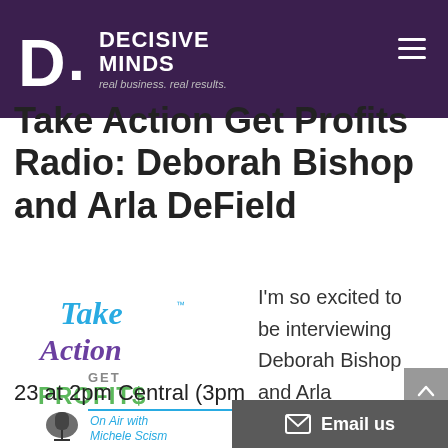DECISIVE MINDS — real business. real results.
Take Action Get Profits Radio: Deborah Bishop and Arla DeField
[Figure (logo): Take Action Get Profits radio show logo — On Air with Michele Scism, with colorful hand-lettered text and a microphone illustration]
I'm so excited to be interviewing Deborah Bishop and Arla DeField on my radio show on Monday, June 23 at 2pm Central (3pm
Email us